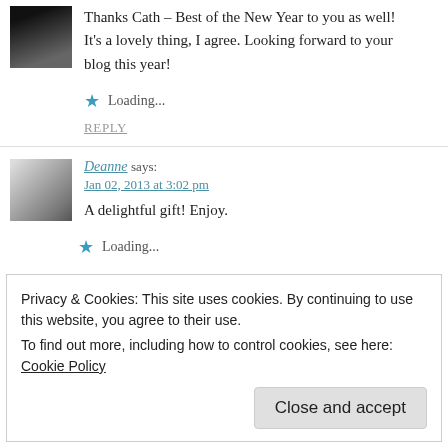Thanks Cath – Best of the New Year to you as well! It's a lovely thing, I agree. Looking forward to your blog this year!
Loading...
REPLY
Deanne says: Jan 02, 2013 at 3:02 pm
A delightful gift! Enjoy.
Loading...
Privacy & Cookies: This site uses cookies. By continuing to use this website, you agree to their use. To find out more, including how to control cookies, see here: Cookie Policy
Close and accept